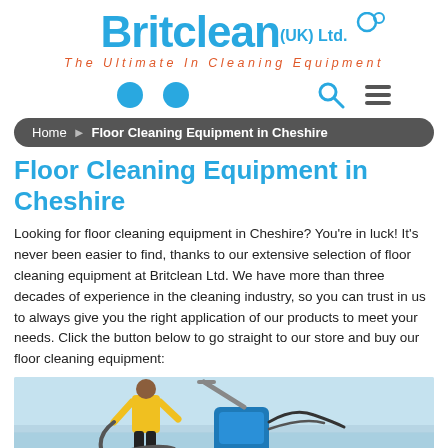[Figure (logo): Britclean (UK) Ltd. logo with tagline 'The Ultimate In Cleaning Equipment']
[Figure (infographic): Navigation bar with two blue circle icons on left, search and hamburger menu icons on right]
Home > Floor Cleaning Equipment in Cheshire
Floor Cleaning Equipment in Cheshire
Looking for floor cleaning equipment in Cheshire? You're in luck! It's never been easier to find, thanks to our extensive selection of floor cleaning equipment at Britclean Ltd. We have more than three decades of experience in the cleaning industry, so you can trust in us to always give you the right application of our products to meet your needs. Click the button below to go straight to our store and buy our floor cleaning equipment:
[Figure (photo): Person in yellow shirt using a large blue floor cleaning machine / vacuum on a tiled or pool-side surface]